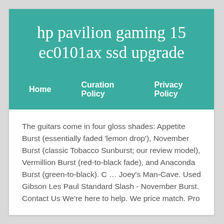hp pavilion gaming 15 ec0101ax ssd upgrade
Home    Curation Policy    Privacy Policy
The guitars come in four gloss shades: Appetite Burst (essentially faded 'lemon drop'), November Burst (classic Tobacco Sunburst; our review model), Vermillion Burst (red-to-black fade), and Anaconda Burst (green-to-black). C … Joey's Man-Cave. Used Gibson Les Paul Standard Slash - November Burst. Contact Us We're here to help. We price match. Pro